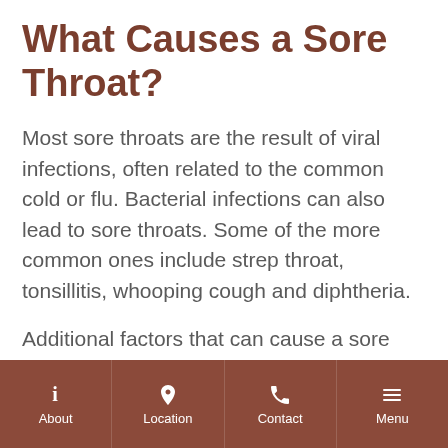What Causes a Sore Throat?
Most sore throats are the result of viral infections, often related to the common cold or flu. Bacterial infections can also lead to sore throats. Some of the more common ones include strep throat, tonsillitis, whooping cough and diphtheria.
Additional factors that can cause a sore throat include allergies, acid reflux,
About | Location | Contact | Menu